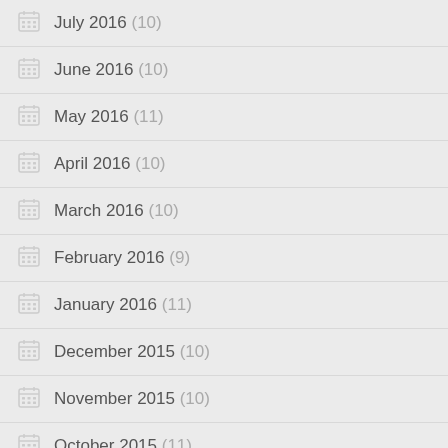July 2016 (10)
June 2016 (10)
May 2016 (11)
April 2016 (10)
March 2016 (10)
February 2016 (9)
January 2016 (11)
December 2015 (10)
November 2015 (10)
October 2015 (11)